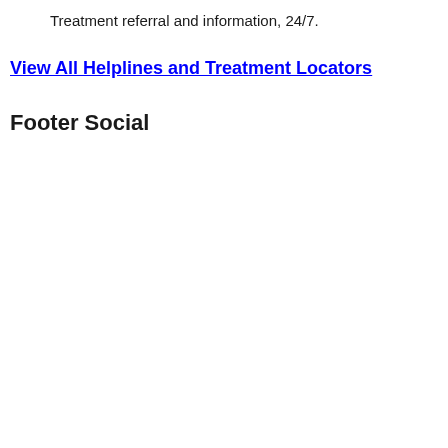Treatment referral and information, 24/7.
View All Helplines and Treatment Locators
Footer Social